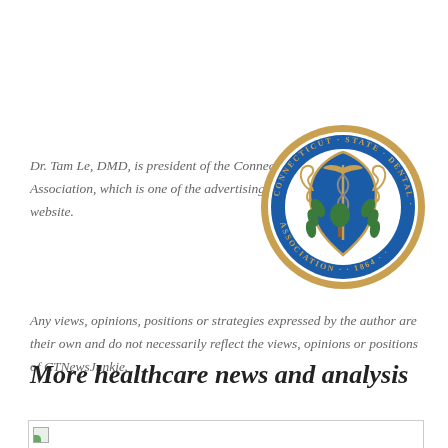Dr. Tam Le, DMD, is president of the Connecticut State Dental Association, which is one of the advertising sponsors of this website.
[Figure (logo): Connecticut State Dental Association seal/logo: circular blue and gold seal with shield bearing medical symbols, text reading 'CONNECTICUT STATE DENTAL ASSOCIATION' and '1864']
Any views, opinions, positions or strategies expressed by the author are their own and do not necessarily reflect the views, opinions or positions of CTNewsJunkie.
More healthcare news and analysis
[Figure (photo): Partial image at the bottom of the page, truncated]